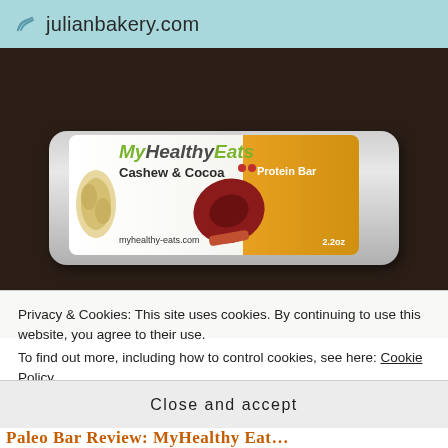julianbakery.com
[Figure (photo): Photo of a MyHealthyEats Cashew & Cocoa Protein Bar (2.2oz) in silver packaging on a dark wood surface. The packaging shows the brand name 'MyHealthyEats' in green and grey italic letters, 'Cashew & Cocoa' in bold black text, 'Protein Bar' in white on an orange background, cashew nuts image, cocoa pod image, and website myhealthy-eats.com.]
Privacy & Cookies: This site uses cookies. By continuing to use this website, you agree to their use.
To find out more, including how to control cookies, see here: Cookie Policy
Close and accept
Paleo Bar Review: MyHealthy Eat...